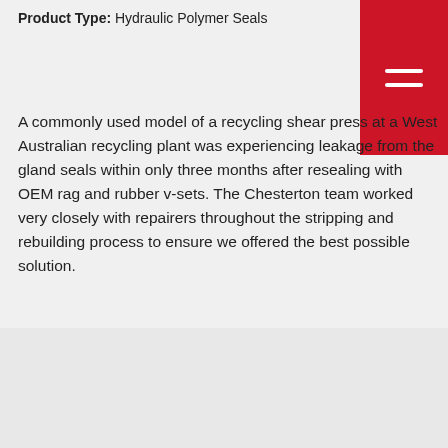Product Type: Hydraulic Polymer Seals
A commonly used model of a recycling shear press at a West Australian recycling plant was experiencing leakage from the gland seals within only three months after resealing with OEM rag and rubber v-sets. The Chesterton team worked very closely with repairers throughout the stripping and rebuilding process to ensure we offered the best possible solution.
Read More